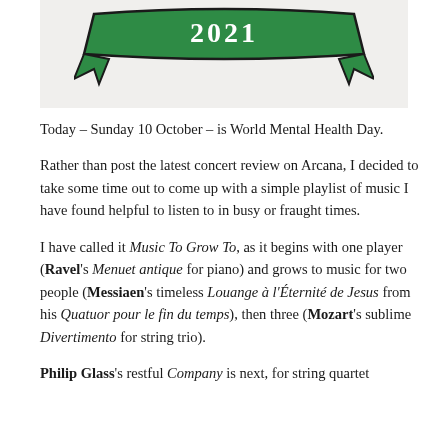[Figure (illustration): A green ribbon banner with '2021' written in white text, styled like an award or badge ribbon, on a light grey background.]
Today – Sunday 10 October – is World Mental Health Day.
Rather than post the latest concert review on Arcana, I decided to take some time out to come up with a simple playlist of music I have found helpful to listen to in busy or fraught times.
I have called it Music To Grow To, as it begins with one player (Ravel's Menuet antique for piano) and grows to music for two people (Messiaen's timeless Louange à l'Éternité de Jesus from his Quatuor pour le fin du temps), then three (Mozart's sublime Divertimento for string trio).
Philip Glass's restful Company is next, for string quartet